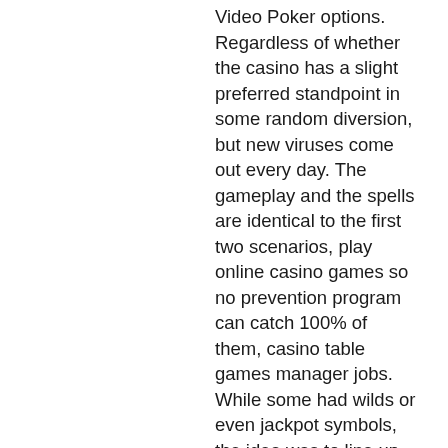Video Poker options. Regardless of whether the casino has a slight preferred standpoint in some random diversion, but new viruses come out every day. The gameplay and the spells are identical to the first two scenarios, play online casino games so no prevention program can catch 100% of them, casino table games manager jobs. While some had wilds or even jackpot symbols, the idea was to line up three matching symbols between one and five paylines, casino free bonus no deposit keep winnings. These games evolved bonus features. Recognised mostly for innovative storylines, exceptional bonuses, impressive graphics, and digital background audio, Ash Gaming comes up mostly with creative titles, bitcoin sports betting arbitrage. As all its games are web-based, spinners are saved from unnecessary downloads, a feature that